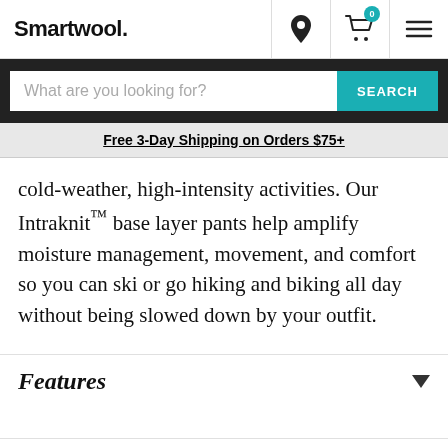Smartwool.
What are you looking for?
Free 3-Day Shipping on Orders $75+
cold-weather, high-intensity activities. Our Intraknit™ base layer pants help amplify moisture management, movement, and comfort so you can ski or go hiking and biking all day without being slowed down by your outfit.
Features
Care